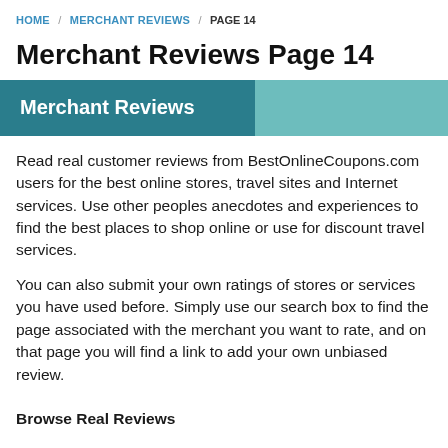HOME / MERCHANT REVIEWS / PAGE 14
Merchant Reviews Page 14
Merchant Reviews
Read real customer reviews from BestOnlineCoupons.com users for the best online stores, travel sites and Internet services. Use other peoples anecdotes and experiences to find the best places to shop online or use for discount travel services.
You can also submit your own ratings of stores or services you have used before. Simply use our search box to find the page associated with the merchant you want to rate, and on that page you will find a link to add your own unbiased review.
Browse Real Reviews